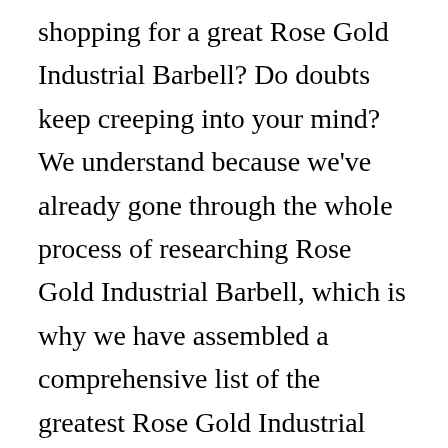shopping for a great Rose Gold Industrial Barbell? Do doubts keep creeping into your mind? We understand because we've already gone through the whole process of researching Rose Gold Industrial Barbell, which is why we have assembled a comprehensive list of the greatest Rose Gold Industrial Barbell available in the current market. We've also come up with a list of questions that you probably have yourself.
We've done the best we can with our thoughts and recommendations, but it's still crucial that